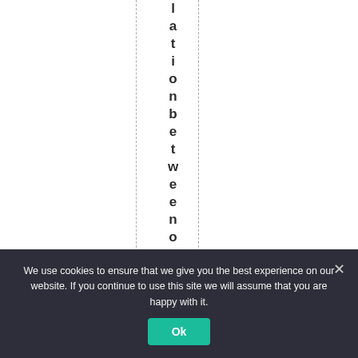lationbetweenouremt
We use cookies to ensure that we give you the best experience on our website. If you continue to use this site we will assume that you are happy with it.